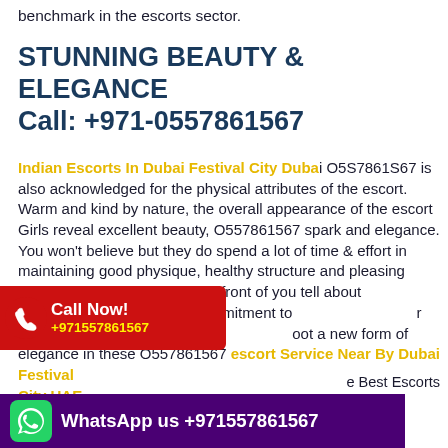benchmark in the escorts sector.
STUNNING BEAUTY & ELEGANCE
Call: +971-0557861567
Indian Escorts In Dubai Festival City Dubai O5S7861S67 is also acknowledged for the physical attributes of the escort. Warm and kind by nature, the overall appearance of the escort Girls reveal excellent beauty, O557861567 spark and elegance. You won't believe but they do spend a lot of time & effort in maintaining good physique, healthy structure and pleasing looks. The way they appear in front of you tell about O557861567 their level of commitment to sitting posture to their style of oot a new form of elegance in these O557861567 escort Service Near By Dubai Festival City UAE
[Figure (infographic): Red Call Now button with phone icon and +971557861567 number]
[Figure (infographic): Purple WhatsApp banner with WhatsApp icon and text 'WhatsApp us +971557861567']
e Best Escorts